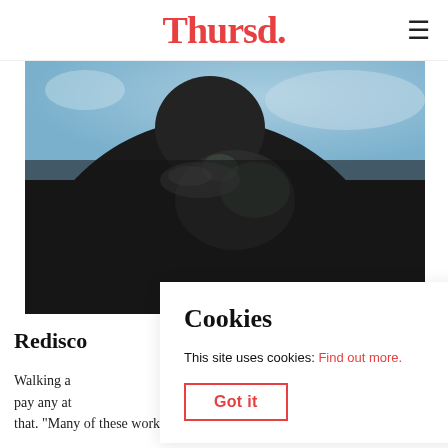Thursd.
[Figure (photo): Close-up photo of a dark bronze or stone sculpture showing the chest and neck area of a human figure, against a blue sky background.]
Redisco
Walking a  pay any at that. "Many of these works are testimonies from the past.
Cookies

This site uses cookies: Find out more.

Got it